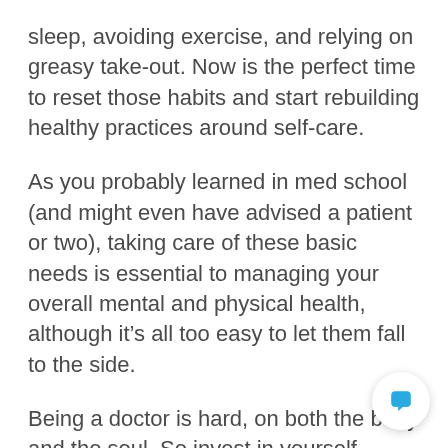sleep, avoiding exercise, and relying on greasy take-out. Now is the perfect time to reset those habits and start rebuilding healthy practices around self-care.
As you probably learned in med school (and might even have advised a patient or two), taking care of these basic needs is essential to managing your overall mental and physical health, although it's all too easy to let them fall to the side.
Being a doctor is hard, on both the body and the soul. So invest in yourself — whether that means buying comfortable shoes, starting a meditation practice, learning to love quinoa, or all of these.